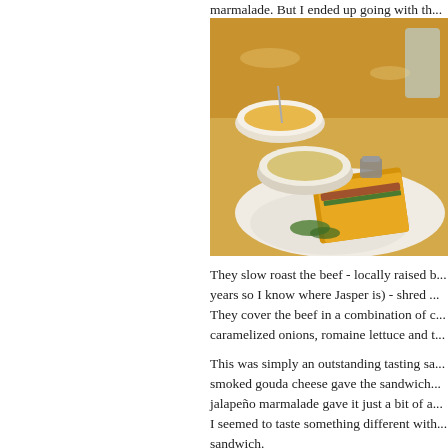marmalade.  But I ended up going with th...
[Figure (photo): Photo of a plate with a grilled cheese sandwich and two bowls of mac and cheese on a restaurant bar counter, with a glass of water in the background.]
They slow roast the beef - locally raised b... years so I know where Jasper is) - shred ...  They cover the beef in a combination of c... caramelized onions, romaine lettuce and t...
This was simply an outstanding tasting sa... smoked gouda cheese gave the sandwich... jalapeño marmalade gave it just a bit of a... I seemed to taste something different with... sandwich.
I thoroughly enjoyed my lunch at Twenty T... beef grilled cheese sandwich was outstan... pimento mac & cheese appetizer that I co... beer selection was very good and feature... Twenty Below's nano-brewery beers...